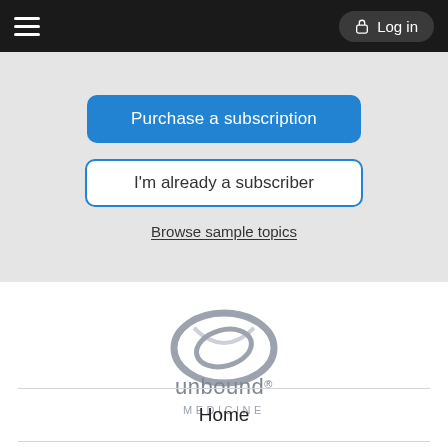Log in
Purchase a subscription
I'm already a subscriber
Browse sample topics
[Figure (logo): Unbound Medicine logo — stylized oval shape in gray above the text 'unbound MEDICINE' in gray]
Home
Contact Us
Privacy / Disclaimer